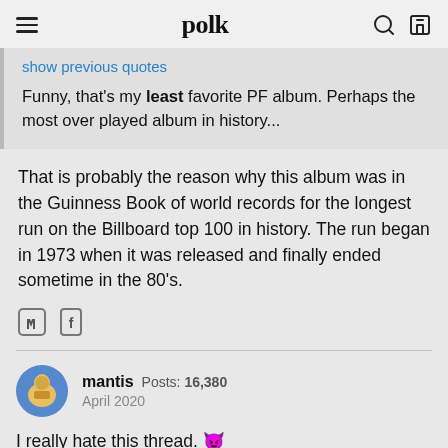polk
show previous quotes
Funny, that's my least favorite PF album. Perhaps the most over played album in history...
That is probably the reason why this album was in the Guinness Book of world records for the longest run on the Billboard top 100 in history. The run began in 1973 when it was released and finally ended sometime in the 80's.
mantis  Posts: 16,380  April 2020
I really hate this thread. 😈